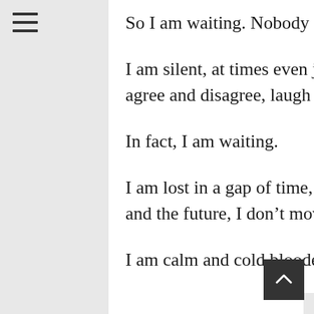So I am waiting. Nobody can tell I am waiting but I do.
I am silent, at times even joyful, I am able to talk about this and that, agree and disagree, laugh and sympathise but actually, I am not there.
In fact, I am waiting.
I am lost in a gap of time, somewhere between the present, the past and the future, I don’t move, I am just waiting.
I am calm and cold blooded, I am